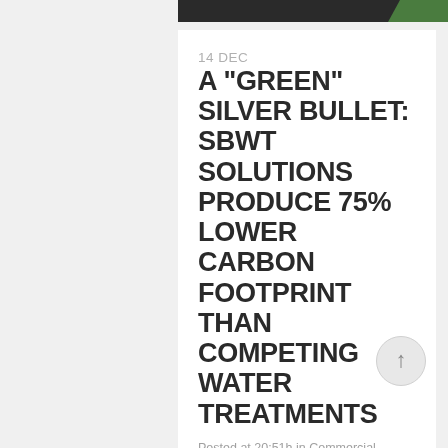14 DEC A "GREEN" SILVER BULLET: SBWT SOLUTIONS PRODUCE 75% LOWER CARBON FOOTPRINT THAN COMPETING WATER TREATMENTS
Posted at 20:51h in Commercial Cooling, Corporate, Horticulture, Livestock Drinking Water by Jeremy Scherr
Join Silver Bullet Water Treatment